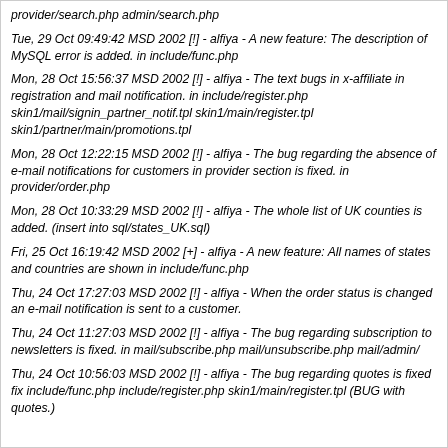provider/search.php admin/search.php
Tue, 29 Oct 09:49:42 MSD 2002 [!] - alfiya - A new feature: The description of MySQL error is added. in include/func.php
Mon, 28 Oct 15:56:37 MSD 2002 [!] - alfiya - The text bugs in x-affiliate in registration and mail notification. in include/register.php skin1/mail/signin_partner_notif.tpl skin1/main/register.tpl skin1/partner/main/promotions.tpl
Mon, 28 Oct 12:22:15 MSD 2002 [!] - alfiya - The bug regarding the absence of e-mail notifications for customers in provider section is fixed. in provider/order.php
Mon, 28 Oct 10:33:29 MSD 2002 [!] - alfiya - The whole list of UK counties is added. (insert into sql/states_UK.sql)
Fri, 25 Oct 16:19:42 MSD 2002 [+] - alfiya - A new feature: All names of states and countries are shown in include/func.php
Thu, 24 Oct 17:27:03 MSD 2002 [!] - alfiya - When the order status is changed an e-mail notification is sent to a customer.
Thu, 24 Oct 11:27:03 MSD 2002 [!] - alfiya - The bug regarding subscription to newsletters is fixed. in mail/subscribe.php mail/unsubscribe.php mail/admin/
Thu, 24 Oct 10:56:03 MSD 2002 [!] - alfiya - The bug regarding quotes is fixed fix include/func.php include/register.php skin1/main/register.tpl (BUG with quotes.)